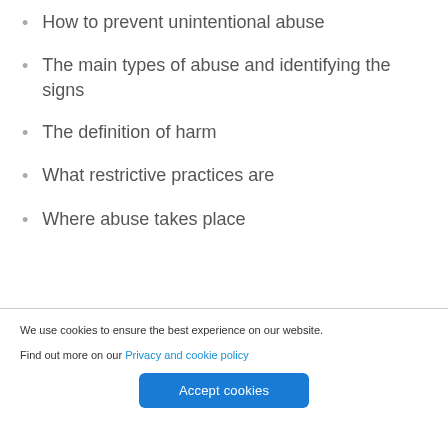How to prevent unintentional abuse
The main types of abuse and identifying the signs
The definition of harm
What restrictive practices are
Where abuse takes place
We use cookies to ensure the best experience on our website.
Find out more on our Privacy and cookie policy